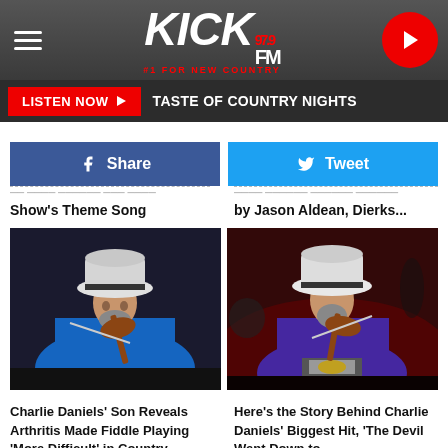KICK 97.9 FM — #1 FOR NEW COUNTRY
LISTEN NOW ▶  TASTE OF COUNTRY NIGHTS
f  Share    🐦  Tweet
Show's Theme Song
by Jason Aldean, Dierks...
[Figure (photo): Charlie Daniels playing fiddle on stage, wearing a blue shirt and white cowboy hat, performing live]
[Figure (photo): Charlie Daniels playing fiddle on stage, wearing a purple/blue jacket and white cowboy hat, in front of red-lit background]
Charlie Daniels' Son Reveals Arthritis Made Fiddle Playing 'More Difficult' in Country...
Here's the Story Behind Charlie Daniels' Biggest Hit, 'The Devil Went Down to...